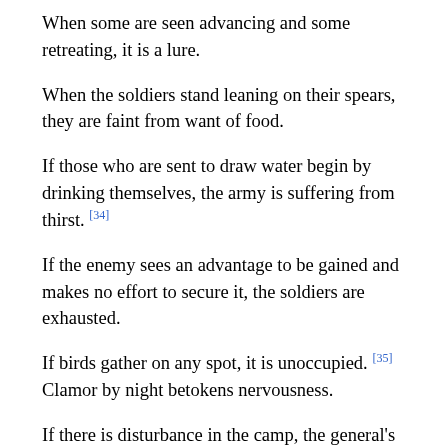When some are seen advancing and some retreating, it is a lure.
When the soldiers stand leaning on their spears, they are faint from want of food.
If those who are sent to draw water begin by drinking themselves, the army is suffering from thirst. [34]
If the enemy sees an advantage to be gained and makes no effort to secure it, the soldiers are exhausted.
If birds gather on any spot, it is unoccupied. [35] Clamor by night betokens nervousness.
If there is disturbance in the camp, the general's authority is weak. If the banners and flags are shifted about, sedition is afoot. If the officers are angry, it means that the men are weary. [36]
When an army feeds its horses with grain and kills its cattle for food, [37] and when the men do not hang their cooking-pots over the camp-fires, showing that they will